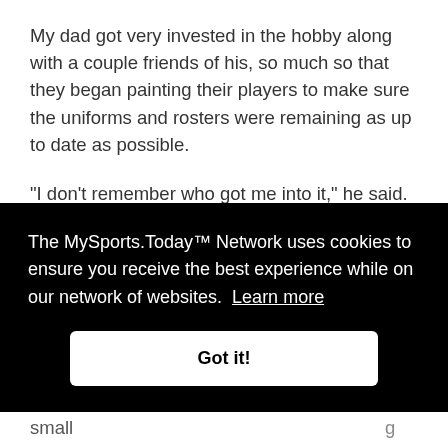My dad got very invested in the hobby along with a couple friends of his, so much so that they began painting their players to make sure the uniforms and rosters were remaining as up to date as possible.
"I don't remember who got me into it," he said. "It might have been my friend Greg who convinced me to paint the figures. My natural tendency would have been to resist doing anything to them, but then I got into it. The players
[Figure (screenshot): Cookie consent banner overlay with black background. Text reads: 'The MySports.Today™ Network uses cookies to ensure you receive the best experience while on our network of websites. Learn more' with a white 'Got it!' button below.]
David would go to a corner dime store in the small